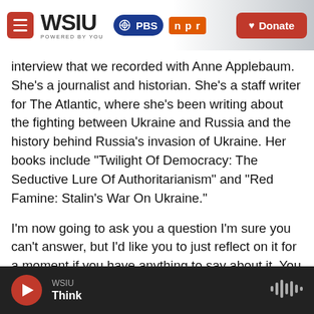WSIU POWERED BY YOU | PBS | npr | Donate
interview that we recorded with Anne Applebaum. She's a journalist and historian. She's a staff writer for The Atlantic, where she's been writing about the fighting between Ukraine and Russia and the history behind Russia's invasion of Ukraine. Her books include "Twilight Of Democracy: The Seductive Lure Of Authoritarianism" and "Red Famine: Stalin's War On Ukraine."
I'm now going to ask you a question I'm sure you can't answer, but I'd like you to just reflect on it for a moment if you have anything to say about it. You know, Putin has actually poisoned some of his
WSIU | Think